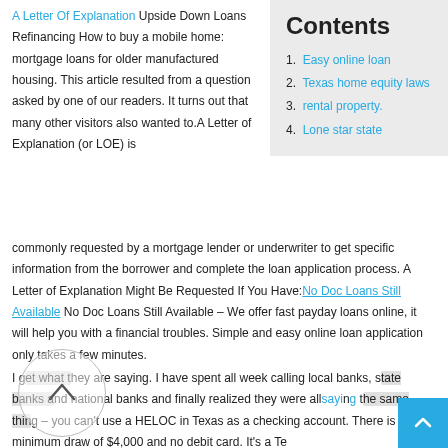A Letter Of Explanation Upside Down Loans Refinancing How to buy a mobile home: mortgage loans for older manufactured housing. This article resulted from a question asked by one of our readers. It turns out that many other visitors also wanted to.A Letter of Explanation (or LOE) is commonly requested by a mortgage lender or underwriter to get specific information from the borrower and complete the loan application process. A Letter of Explanation Might Be Requested If You Have: No Doc Loans Still Available No Doc Loans Still Available – We offer fast payday loans online, it will help you with a financial troubles. Simple and easy online loan application only takes a few minutes.
Contents
Easy online loan
Texas home equity laws
rental property.
Lone star state
I get what they are saying. I have spent all week calling local banks, state banks and national banks and finally realized they were all saying the same thing – you can't use a HELOC in Texas as a checking account. There is a minimum draw of $4,000 and no debit card. It's a Texas law.